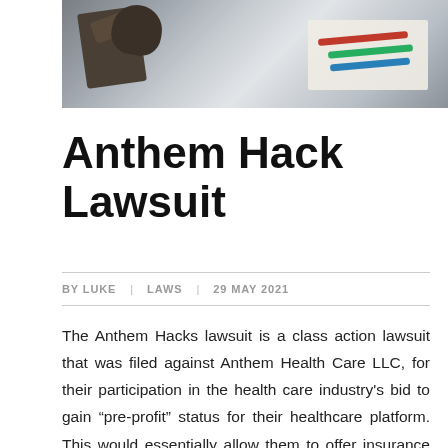[Figure (photo): A gavel and papers on a desk with colorful pens, suggesting a legal or courtroom setting]
Anthem Hack Lawsuit
BY LUKE  |  LAWS  |  29 MAY 2021
The Anthem Hacks lawsuit is a class action lawsuit that was filed against Anthem Health Care LLC, for their participation in the health care industry's bid to gain “pre-profit” status for their healthcare platform. This would essentially allow them to offer insurance policies at a higher premium than other companies. Class action lawsuits are designed for many things,